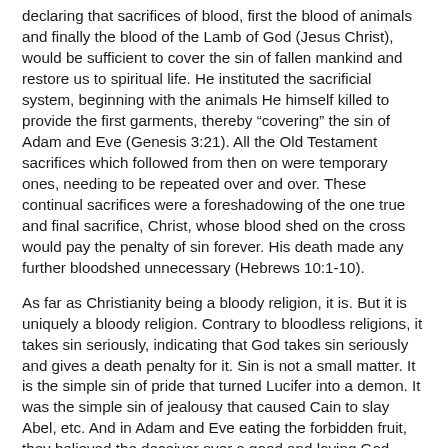declaring that sacrifices of blood, first the blood of animals and finally the blood of the Lamb of God (Jesus Christ), would be sufficient to cover the sin of fallen mankind and restore us to spiritual life. He instituted the sacrificial system, beginning with the animals He himself killed to provide the first garments, thereby “covering” the sin of Adam and Eve (Genesis 3:21). All the Old Testament sacrifices which followed from then on were temporary ones, needing to be repeated over and over. These continual sacrifices were a foreshadowing of the one true and final sacrifice, Christ, whose blood shed on the cross would pay the penalty of sin forever. His death made any further bloodshed unnecessary (Hebrews 10:1-10).
As far as Christianity being a bloody religion, it is. But it is uniquely a bloody religion. Contrary to bloodless religions, it takes sin seriously, indicating that God takes sin seriously and gives a death penalty for it. Sin is not a small matter. It is the simple sin of pride that turned Lucifer into a demon. It was the simple sin of jealousy that caused Cain to slay Abel, etc. And in Adam and Eve eating the forbidden fruit, they believed the deceiver over a good and loving God, choosing to rebel against His love and denying the goodness of His character. Christianity is a bloody religion because it views sin as a holy God views it—seriously.